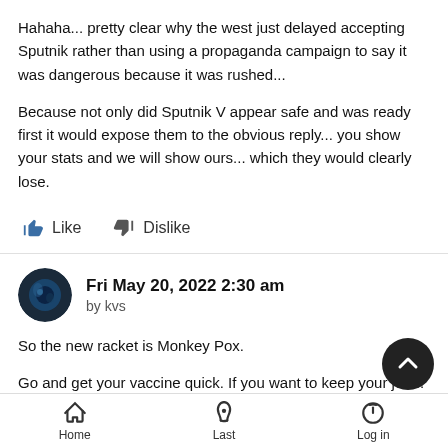Hahaha... pretty clear why the west just delayed accepting Sputnik rather than using a propaganda campaign to say it was dangerous because it was rushed...

Because not only did Sputnik V appear safe and was ready first it would expose them to the obvious reply... you show your stats and we will show ours... which they would clearly lose.
Like   Dislike
Fri May 20, 2022 2:30 am
by kvs
So the new racket is Monkey Pox.

Go and get your vaccine quick. If you want to keep your job... Little details such as the vaccine more likely to kill or injure you than
Home   Last   Log in